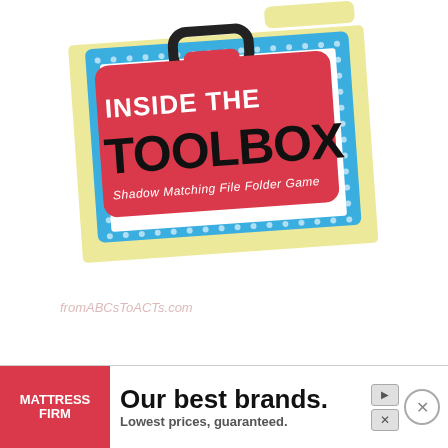[Figure (photo): A photo of a manila file folder containing a printed card with a blue polka-dot border. On top of the card is a red toolbox-shaped label with a black handle illustration. The label reads 'INSIDE THE TOOLBOX' in large bold text and 'Shadow Matching File Folder Game' in italic white text below.]
fromABCsToACTs.com
[Figure (infographic): Advertisement banner for Mattress Firm. Red box on left with 'MATTRESS FIRM' logo in white. Text reads 'Our best brands. Lowest prices, guaranteed.' with navigation and close buttons.]